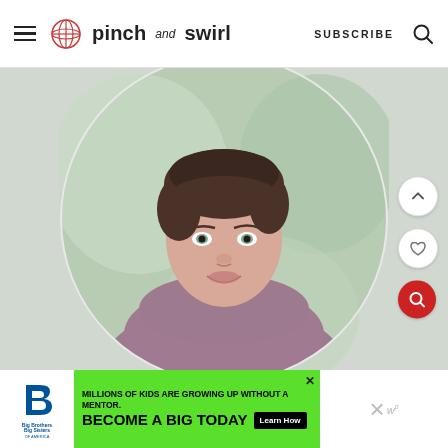pinch and swirl — SUBSCRIBE
[Figure (photo): Circular portrait photo of a woman with short dark hair wearing a mauve/purple top, smiling, with blurred green background]
MILLIONS OF KIDS ARE GROWING UP WITHOUT A MENTOR. BECOME A BIG TODAY — Learn How